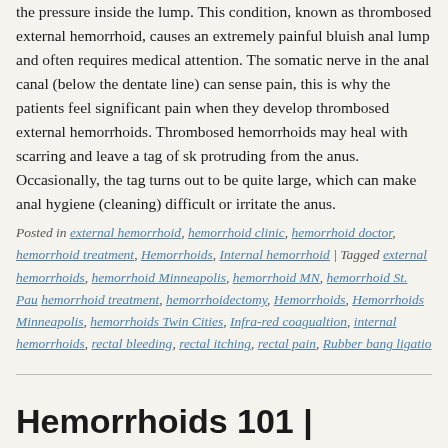the pressure inside the lump. This condition, known as thrombosed external hemorrhoid, causes an extremely painful bluish anal lump and often requires medical attention. The somatic nerve in the anal canal (below the dentate line) can sense pain, this is why the patients feel significant pain when they develop thrombosed external hemorrhoids. Thrombosed hemorrhoids may heal with scarring and leave a tag of skin protruding from the anus. Occasionally, the tag turns out to be quite large, which can make anal hygiene (cleaning) difficult or irritate the anus.
Posted in external hemorrhoid, hemorrhoid clinic, hemorrhoid doctor, hemorrhoid treatment, Hemorrhoids, Internal hemorrhoid | Tagged external hemorrhoids, hemorrhoid Minneapolis, hemorrhoid MN, hemorrhoid St. Paul, hemorrhoid treatment, hemorrhoidectomy, Hemorrhoids, Hemorrhoids Minneapolis, hemorrhoids Twin Cities, Infra-red coagualtion, internal hemorrhoids, rectal bleeding, rectal itching, rectal pain, Rubber bang ligation
Hemorrhoids 101 | Minnesota
Posted on February 11, 2018 by admin
Believe it or not, everyone has had a normal hemorrhoidal tissue in the rectum and anus. It's only when your hemorrhoidal veins enlarge and